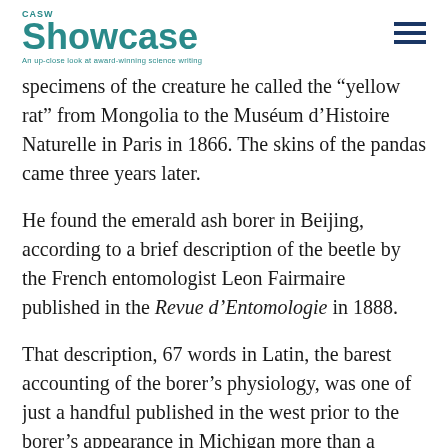CASW Showcase — An up-close look at award-winning science writing
specimens of the creature he called the "yellow rat" from Mongolia to the Muséum d'Histoire Naturelle in Paris in 1866. The skins of the pandas came three years later.
He found the emerald ash borer in Beijing, according to a brief description of the beetle by the French entomologist Leon Fairmaire published in the Revue d'Entomologie in 1888.
That description, 67 words in Latin, the barest accounting of the borer's physiology, was one of just a handful published in the west prior to the borer's appearance in Michigan more than a century later.
Fairmaire assigned it to the genus Agrilus, a subset of jewel beetles and, with more than 3,000 species, the most